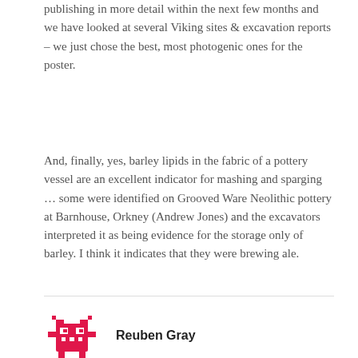publishing in more detail within the next few months and we have looked at several Viking sites & excavation reports – we just chose the best, most photogenic ones for the poster.
And, finally, yes, barley lipids in the fabric of a pottery vessel are an excellent indicator for mashing and sparging … some were identified on Grooved Ware Neolithic pottery at Barnhouse, Orkney (Andrew Jones) and the excavators interpreted it as being evidence for the storage only of barley. I think it indicates that they were brewing ale.
[Figure (illustration): Pixel art style icon of a robot/space invader character in pink/red color]
Reuben Gray